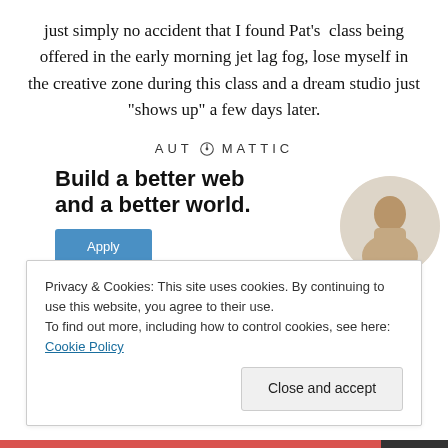just simply no accident that I found Pat's class being offered in the early morning jet lag fog, lose myself in the creative zone during this class and a dream studio just “shows up” a few days later.
[Figure (logo): Automattic logo with stylized compass O]
[Figure (infographic): Automattic job advertisement: Build a better web and a better world. Apply button with photo of a person thinking.]
Privacy & Cookies: This site uses cookies. By continuing to use this website, you agree to their use.
To find out more, including how to control cookies, see here: Cookie Policy
Close and accept